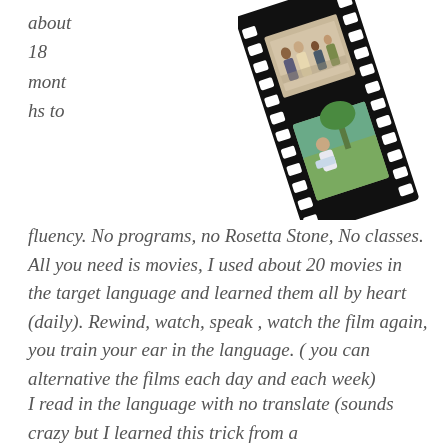about
18
mont
hs to
[Figure (photo): A diagonal film strip containing two photographs of people in outdoor/indoor scenes]
fluency. No programs, no Rosetta Stone, No classes. All you need is movies, I used about 20 movies in the target language and learned them all by heart (daily). Rewind, watch, speak , watch the film again, you train your ear in the language. ( you can alternative the films each day and each week)
I read in the language with no translate (sounds crazy but I learned this trick from a